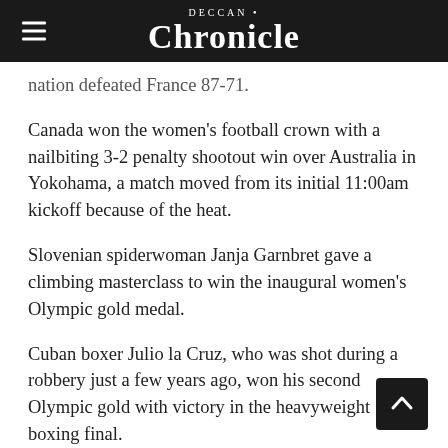DECCAN Chronicle
nation defeated France 87-71.
Canada won the women's football crown with a nailbiting 3-2 penalty shootout win over Australia in Yokohama, a match moved from its initial 11:00am kickoff because of the heat.
Slovenian spiderwoman Janja Garnbret gave a climbing masterclass to win the inaugural women's Olympic gold medal.
Cuban boxer Julio la Cruz, who was shot during a robbery just a few years ago, won his second Olympic gold with victory in the heavyweight boxing final.
The 31-year-old defeated Russia's Muslim Gadzhimagomedov on unanimous points to add the